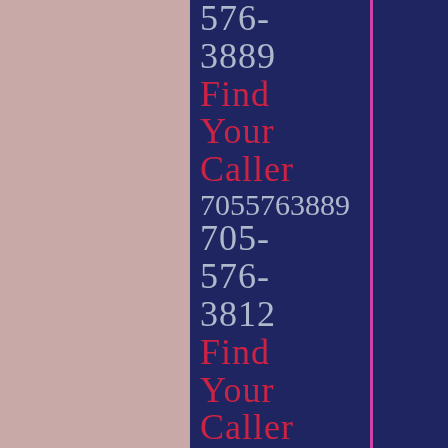576-
3889
Find
Your
Caller
7055763889
705-
576-
3812
Find
Your
Caller
7055763812
705-
576-
3820
Find
[Figure (other): Decorative vertical magenta/pink line dividing content column from navy background]